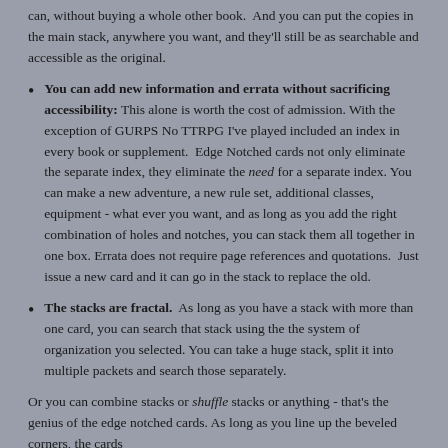can, without buying a whole other book.  And you can put the copies in the main stack, anywhere you want, and they'll still be as searchable and accessible as the original.
You can add new information and errata without sacrificing accessibility: This alone is worth the cost of admission. With the exception of GURPS No TTRPG I've played included an index in every book or supplement.  Edge Notched cards not only eliminate the separate index, they eliminate the need for a separate index. You can make a new adventure, a new rule set, additional classes, equipment - what ever you want, and as long as you add the right combination of holes and notches, you can stack them all together in one box. Errata does not require page references and quotations.  Just issue a new card and it can go in the stack to replace the old.
The stacks are fractal.  As long as you have a stack with more than one card, you can search that stack using the the system of organization you selected. You can take a huge stack, split it into multiple packets and search those separately.
Or you can combine stacks or shuffle stacks or anything - that's the genius of the edge notched cards. As long as you line up the beveled corners, the cards